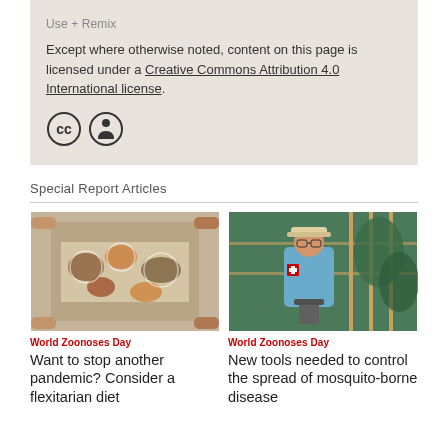Use + Remix
Except where otherwise noted, content on this page is licensed under a Creative Commons Attribution 4.0 International license.
[Figure (illustration): Creative Commons CC and attribution (BY) icons — two circular badges]
Special Report Articles
[Figure (photo): Aerial view of people sharing food at a table covered with various dishes]
World Zoonoses Day
Want to stop another pandemic? Consider a flexitarian diet
[Figure (photo): A worker in a blue uniform and hat handling equipment near a fence in a green outdoor area]
World Zoonoses Day
New tools needed to control the spread of mosquito-borne disease